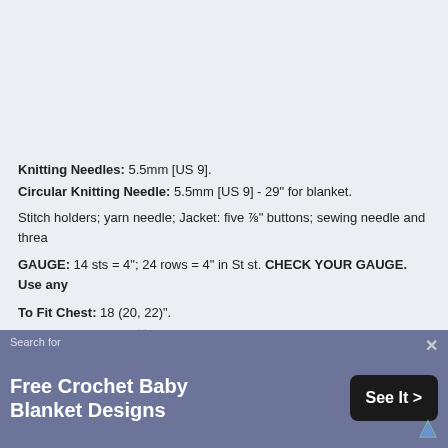Knitting Needles: 5.5mm [US 9].
Circular Knitting Needle: 5.5mm [US 9] - 29" for blanket.
Stitch holders; yarn needle; Jacket: five ⅞" buttons; sewing needle and threa
GAUGE: 14 sts = 4"; 24 rows = 4" in St st. CHECK YOUR GAUGE. Use any
To Fit Chest: 18 (20, 22)".
Finished Chest: 22 ½ (24 ¾, 25 ¾)".
BLANKET
[Figure (photo): Baby photo on yellow background]
Strip 1 (Make 4): With CA, cast on 18 st work in St st for 32 rows. With CA work
Search for Free Crochet Baby Blanket Designs See It >